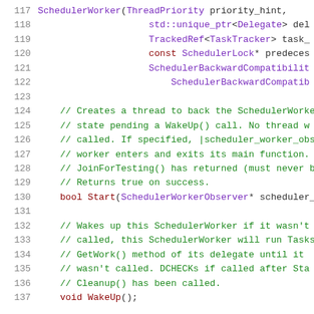[Figure (screenshot): Source code screenshot showing C++ class definition lines 117-137, with line numbers in grey on the left, purple/dark-red class/type names, green comments, and dark-red keywords and function names.]